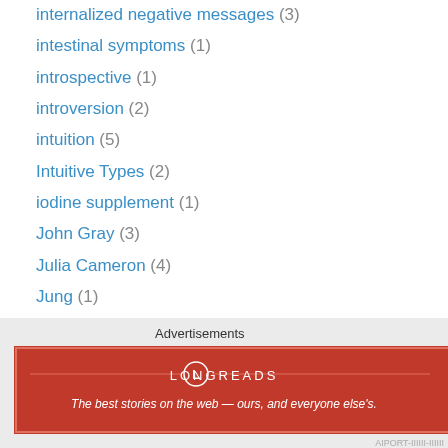internalized negative messages (3)
intestinal symptoms (1)
introspective (1)
introversion (2)
intuition (5)
Intuitive Types (2)
iodine supplement (1)
John Gray (3)
Julia Cameron (4)
Jung (1)
Keirsey and Bates (1)
Law of Attraction (2)
Learned Helplessness (1)
left and right sides of the brain (3)
Less is More (1)
let the unimportant things go (1)
[Figure (other): Longreads advertisement banner: red background with Longreads logo and tagline 'The best stories on the web - ours, and everyone else's.']